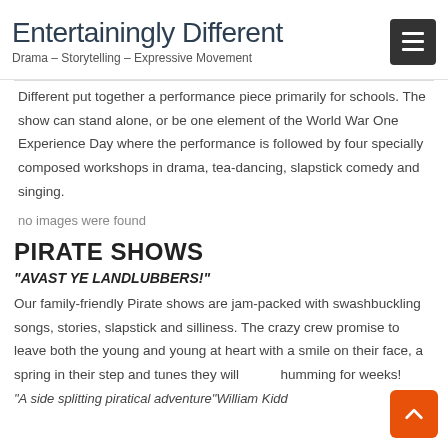Entertainingly Different – Drama – Storytelling – Expressive Movement
Different put together a performance piece primarily for schools. The show can stand alone, or be one element of the World War One Experience Day where the performance is followed by four specially composed workshops in drama, tea-dancing, slapstick comedy and singing.
no images were found
PIRATE SHOWS
“AVAST YE LANDLUBBERS!”
Our family-friendly Pirate shows are jam-packed with swashbuckling songs, stories, slapstick and silliness. The crazy crew promise to leave both the young and young at heart with a smile on their face, a spring in their step and tunes they will be humming for weeks!
“A side splitting piratical adventure” William Kidd